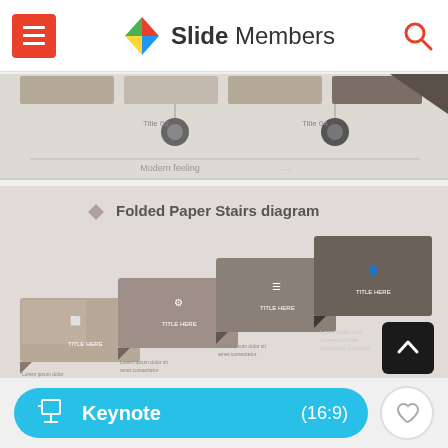Slide Members
[Figure (screenshot): Partially visible presentation slide showing a timeline or process diagram with grey/brown colored boxes and circular connectors, with text 'Modern feeling' at bottom]
[Figure (screenshot): Presentation slide showing 'Folded Paper Stairs diagram' with staircase-style overlapping speech bubble shapes in grey and dark grey tones, each containing an icon and placeholder text]
Keynote    (16:9)